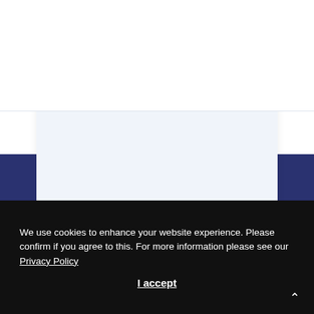[Figure (logo): Relltek logo — geometric teal and dark blue diamond/arrow shape followed by bold navy text 'Relltek']
[Figure (other): Hamburger menu icon (three horizontal lines) in top right corner]
How Relltek can help
Our secure IT asset disposal services, offset and buyback model explained.
We use cookies to enhance your website experience. Please confirm if you agree to this. For more information please see our Privacy Policy
I accept